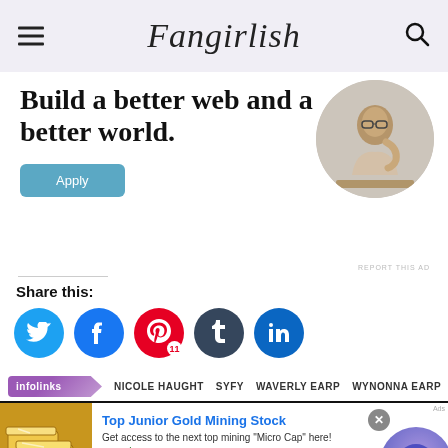Fangirlish
[Figure (illustration): Ad banner: 'Build a better web and a better world.' with an Apply button and a circular photo of a man thinking at a desk]
REPORT THIS AD
Share this:
[Figure (infographic): Social share icons: Twitter (blue), Facebook (blue), Pinterest (red, 11), Tumblr (dark), LinkedIn (blue)]
NICOLE HAUGHT   SYFY   WAVERLY EARP   WYNONNA EARP
[Figure (infographic): Bottom ad: Top Junior Gold Mining Stock - Get access to the next top mining Micro Cap here! www.rivres.com - with gold bars image and play button overlay]